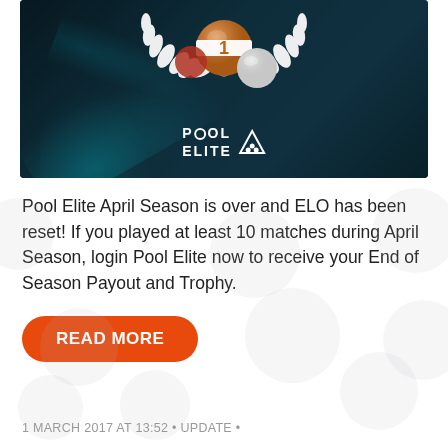[Figure (photo): Pool Elite game banner showing billiard balls with a number 1 ball in the center surrounded by a laurel wreath, glowing cyan light effects on dark teal background, with 'POOL ELITE' logo and a triangle rack icon in white.]
Pool Elite April Season is over and ELO has been reset! If you played at least 10 matches during April Season, login Pool Elite now to receive your End of Season Payout and Trophy.
READ MORE
1 MARCH 2017 AT 13:52 • UPDATE •